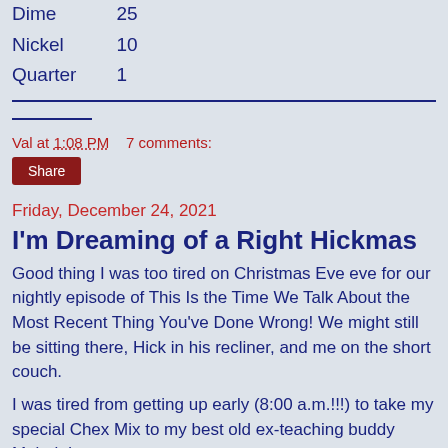| Dime | 25 |
| Nickel | 10 |
| Quarter | 1 |
Val at 1:08 PM   7 comments:
Share
Friday, December 24, 2021
I'm Dreaming of a Right Hickmas
Good thing I was too tired on Christmas Eve eve for our nightly episode of This Is the Time We Talk About the Most Recent Thing You've Done Wrong! We might still be sitting there, Hick in his recliner, and me on the short couch.
I was tired from getting up early (8:00 a.m.!!!) to take my special Chex Mix to my best old ex-teaching buddy Mabel. I